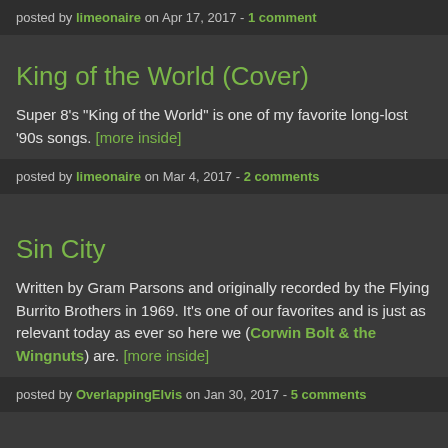posted by limeonaire on Apr 17, 2017 - 1 comment
King of the World (Cover)
Super 8's "King of the World" is one of my favorite long-lost '90s songs. [more inside]
posted by limeonaire on Mar 4, 2017 - 2 comments
Sin City
Written by Gram Parsons and originally recorded by the Flying Burrito Brothers in 1969. It's one of our favorites and is just as relevant today as ever so here we (Corwin Bolt & the Wingnuts) are. [more inside]
posted by OverlappingElvis on Jan 30, 2017 - 5 comments